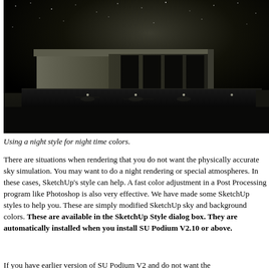[Figure (photo): Night rendering of a modern building with a pool in the foreground under a starry sky, rendered in dark monochrome tones.]
Using a night style for night time colors.
There are situations when rendering that you do not want the physically accurate sky simulation. You may want to do a night rendering or special atmospheres. In these cases, SketchUp's style can help. A fast color adjustment in a Post Processing program like Photoshop is also very effective. We have made some SketchUp styles to help you. These are simply modified SketchUp sky and background colors. These are available in the SketchUp Style dialog box. They are automatically installed when you install SU Podium V2.10 or above.
If you have earlier version of SU Podium V2 and do not want the